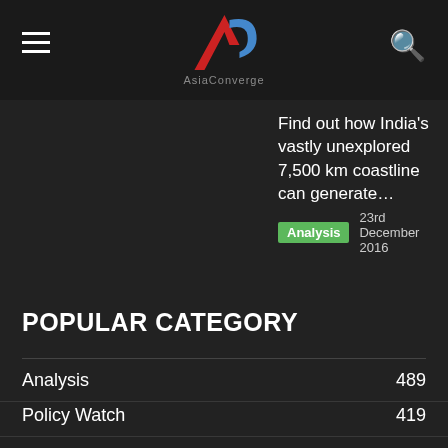AsiaConverge
Find out how India's vastly unexplored 7,500 km coastline can generate…
Analysis   23rd December 2016
POPULAR CATEGORY
Analysis 489
Policy Watch 419
Adani 141
JMulraj 96
China 80
Interview 61